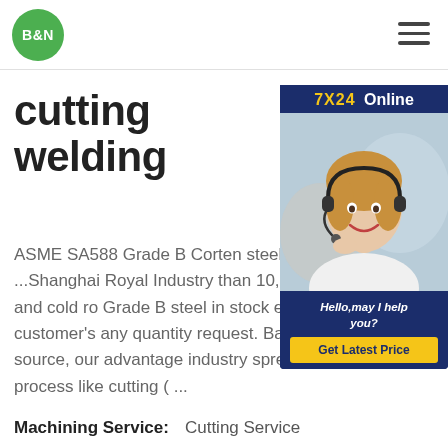[Figure (logo): B&N green circle logo with white bold text]
[Figure (infographic): 7X24 Online chat widget with smiling woman wearing headset, Hello may I help you text, and Get Latest Price yellow button]
cutting welding
ASME SA588 Grade B Corten steel,SA steel plate ...Shanghai Royal Industry than 10,000 tons hot rolled and cold ro Grade B steel in stock each month.We customer's any quantity request. Based on these stock source, our advantage industry spread into steel process like cutting ( ...
Machining Service:   Cutting Service